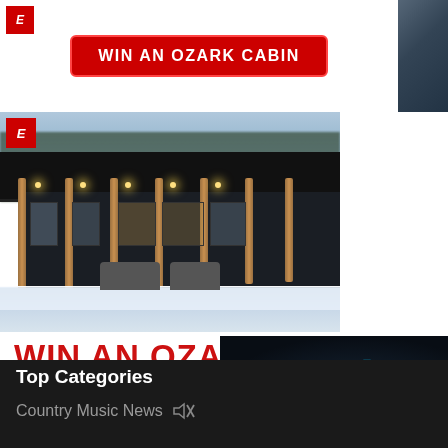[Figure (photo): Banner advertisement strip at top showing 'WIN AN OZARK CABIN' button on white background with small logo badge, and partial cabin photo on right]
[Figure (photo): Large promo block: photo of Ozark cabin with dark metal roof, wood posts, covered porch/patio area in winter/snow setting. Logo badge top-left.]
WIN AN OZARK CABIN
ENTER NOW
[Figure (screenshot): Video thumbnail with dark background showing blue neon-style vertical bar/play button icon]
Top Categories
Country Music News